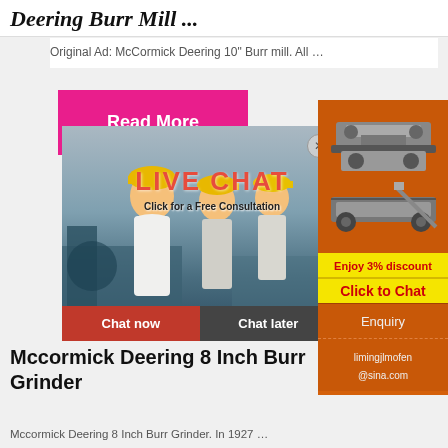Deering Burr Mill ...
Original Ad: McCormick Deering 10" Burr mill. All …
[Figure (screenshot): Pink 'Read More' button]
[Figure (screenshot): Live Chat popup with workers in hard hats, LIVE CHAT heading, Click for a Free Consultation, Chat now and Chat later buttons]
[Figure (screenshot): Orange advertisement panel on right side showing mining/crushing machinery images, Enjoy 3% discount, Click to Chat, Enquiry, limingjlmofen@sina.com]
Mccormick Deering 8 Inch Burr Grinder
Mccormick Deering 8 Inch Burr Grinder. In 1927 …